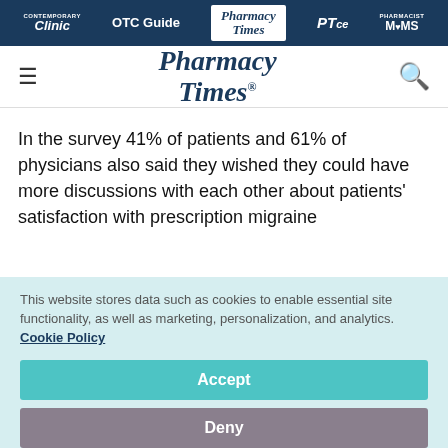Clinic | OTC Guide | Pharmacy Times | PTce | Pharmacist MOMS
Pharmacy Times
In the survey 41% of patients and 61% of physicians also said they wished they could have more discussions with each other about patients' satisfaction with prescription migraine
This website stores data such as cookies to enable essential site functionality, as well as marketing, personalization, and analytics. Cookie Policy
Accept
Deny